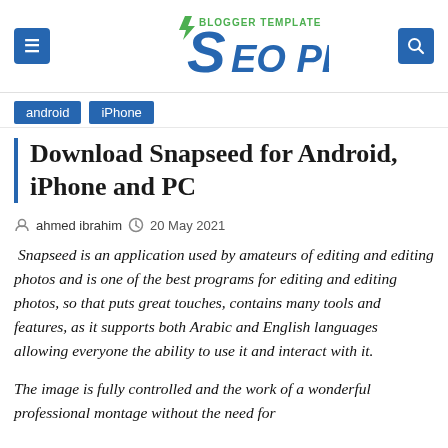SEO PLUS - BLOGGER TEMPLATE
android
iPhone
Download Snapseed for Android, iPhone and PC
ahmed ibrahim  20 May 2021
Snapseed is an application used by amateurs of editing and editing photos and is one of the best programs for editing and editing photos, so that puts great touches, contains many tools and features, as it supports both Arabic and English languages allowing everyone the ability to use it and interact with it.
The image is fully controlled and the work of a wonderful professional montage without the need for